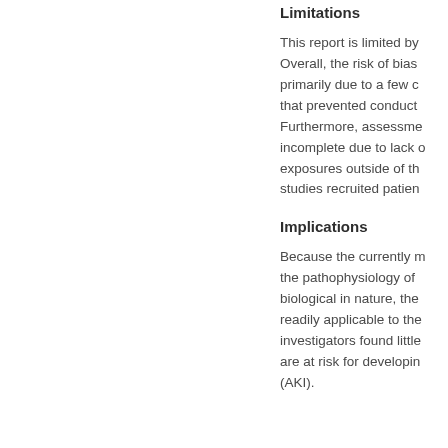Limitations
This report is limited by Overall, the risk of bias primarily due to a few c that prevented conduct Furthermore, assessme incomplete due to lack exposures outside of th studies recruited patien
Implications
Because the currently m the pathophysiology of biological in nature, the readily applicable to the investigators found little are at risk for developin (AKI).